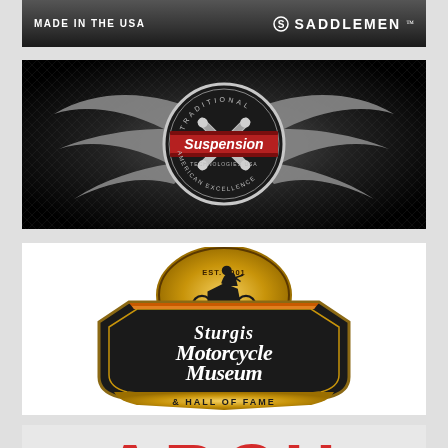[Figure (logo): Saddlemen advertisement banner — dark grey background, 'MADE IN THE USA' text on left, Saddlemen logo with S icon on right]
[Figure (logo): Suspension Technologies USA advertisement — dark background with diamond texture, winged circular emblem with crossed shock absorbers, red banner reading 'Suspension' in center]
[Figure (logo): Sturgis Motorcycle Museum & Hall of Fame logo — circular gold/black badge with EST. 2001, motorcycle silhouette, ornate shield shape with orange and black colors, script text reading 'Sturgis Motorcycle Museum & Hall of Fame']
[Figure (logo): ARCH motorcycle brand logo — large bold red letters 'ARCH' partially visible at bottom of page]